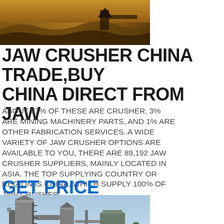[Figure (photo): Construction/mining site photograph showing excavation equipment and dug earth at dusk or dawn with orange/brown tones]
JAW CRUSHER CHINA TRADE,BUY CHINA DIRECT FROM JAW
ABOUT 87% OF THESE ARE CRUSHER, 3% ARE MINING MACHINERY PARTS, AND 1% ARE OTHER FABRICATION SERVICES. A WIDE VARIETY OF JAW CRUSHER OPTIONS ARE AVAILABLE TO YOU, THERE ARE 89,192 JAW CRUSHER SUPPLIERS, MAINLY LOCATED IN ASIA. THE TOP SUPPLYING COUNTRY OR REGION IS CHINA, WHICH SUPPLY 100% OF JAW CRUSHER
GET PRICE
[Figure (photo): Industrial grinding mill or dust collector machinery with large cylindrical towers and pipes against a blue sky background]